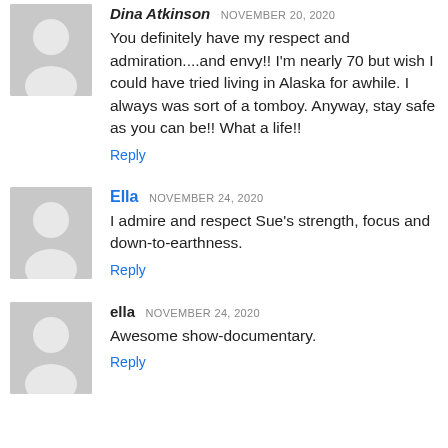Dina Atkinson NOVEMBER 20, 2020
You definitely have my respect and admiration....and envy!! I'm nearly 70 but wish I could have tried living in Alaska for awhile. I always was sort of a tomboy. Anyway, stay safe as you can be!! What a life!!
Reply
Ella NOVEMBER 24, 2020
I admire and respect Sue's strength, focus and down-to-earthness.
Reply
ella NOVEMBER 24, 2020
Awesome show-documentary.
Reply